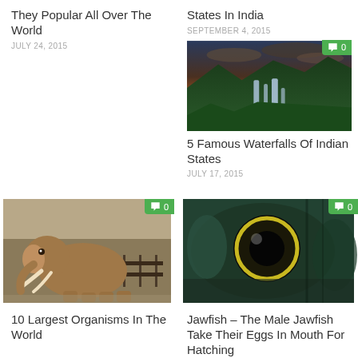They Popular All Over The World
JULY 24, 2015
States In India
SEPTEMBER 4, 2015
[Figure (photo): Waterfall over cliffs at sunset with lush green forest and dramatic cloudy sky, comment badge showing 0]
5 Famous Waterfalls Of Indian States
JULY 17, 2015
[Figure (photo): Large elephant with tusks standing in an enclosure with fence behind, comment badge showing 0]
[Figure (photo): Close-up of a fish eye, dark green and teal tones, comment badge showing 0]
10 Largest Organisms In The World
Jawfish – The Male Jawfish Take Their Eggs In Mouth For Hatching